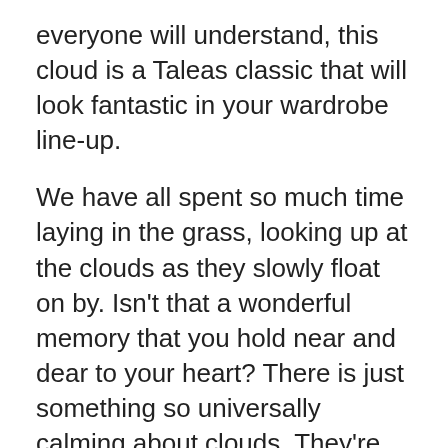everyone will understand, this cloud is a Taleas classic that will look fantastic in your wardrobe line-up.
We have all spent so much time laying in the grass, looking up at the clouds as they slowly float on by. Isn't that a wonderful memory that you hold near and dear to your heart? There is just something so universally calming about clouds. They're like the epitome of peace and calm.
Whenever you need to go to your mental happy place, you should just think about clouds. Think about how large they are (the average cloud weighs about one million pounds), think about how soft and gentle they